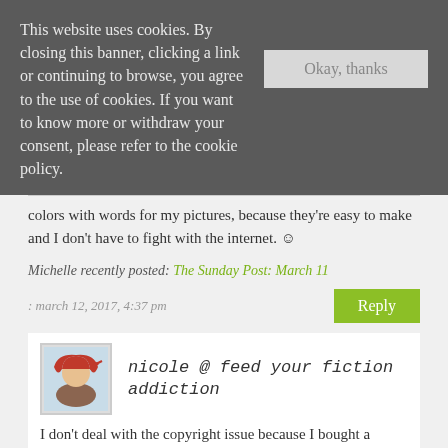This website uses cookies. By closing this banner, clicking a link or continuing to browse, you agree to the use of cookies. If you want to know more or withdraw your consent, please refer to the cookie policy.
colors with words for my pictures, because they're easy to make and I don't have to fight with the internet. 😊
Michelle recently posted: The Sunday Post: March 11
: march 12, 2017, 4:37 pm
nicole @ feed your fiction addiction
I don't deal with the copyright issue because I bought a discount lifetime subscription to one site and I have a couple of other copyright free sites that I rely on as well. That can definitely get tricky!